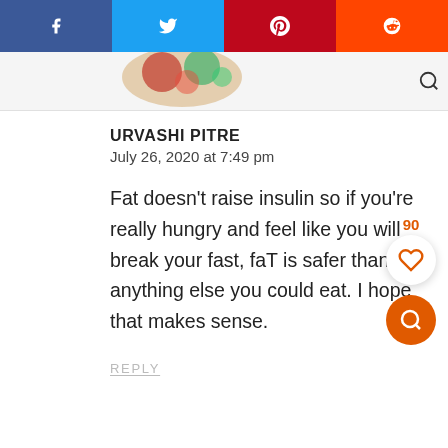[Figure (screenshot): Social share bar with Facebook (blue), Twitter (light blue), Pinterest (red), Reddit (orange) buttons]
[Figure (photo): Partial food/recipe header image with vegetables and text]
URVASHI PITRE
July 26, 2020 at 7:49 pm
Fat doesn’t raise insulin so if you’re really hungry and feel like you will break your fast, faT is safer than anything else you could eat. I hope that makes sense.
REPLY